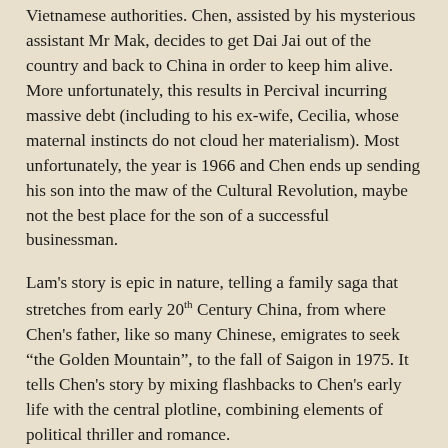Vietnamese authorities.  Chen, assisted by his mysterious assistant Mr Mak, decides to get Dai Jai out of the country and back to China in order to keep him alive.  More unfortunately, this results in Percival incurring massive debt (including to his ex-wife, Cecilia, whose maternal instincts do not cloud her materialism).  Most unfortunately, the year is 1966 and Chen ends up sending his son into the maw of the Cultural Revolution, maybe not the best place for the son of a successful businessman.
Lam's story is epic in nature, telling a family saga that stretches from early 20th Century China, from where Chen's father, like so many Chinese, emigrates to seek "the Golden Mountain", to the fall of Saigon in 1975.  It tells Chen's story by mixing flashbacks to Chen's early life with the central plotline, combining elements of political thriller and romance.
Chen is, essentially, a survivor, prospering through the Japanese occupation of Hong Kong where he has been sent to school, the French occupation of Indo-China and the Vietnam War, first as a rice merchant and latterly as headmaster.  Cash is his king and he believes that business